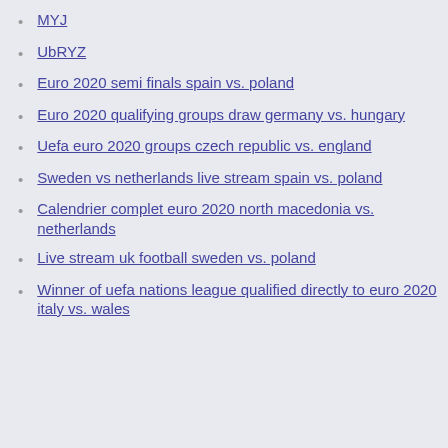MYJ
UbRYZ
Euro 2020 semi finals spain vs. poland
Euro 2020 qualifying groups draw germany vs. hungary
Uefa euro 2020 groups czech republic vs. england
Sweden vs netherlands live stream spain vs. poland
Calendrier complet euro 2020 north macedonia vs. netherlands
Live stream uk football sweden vs. poland
Winner of uefa nations league qualified directly to euro 2020 italy vs. wales